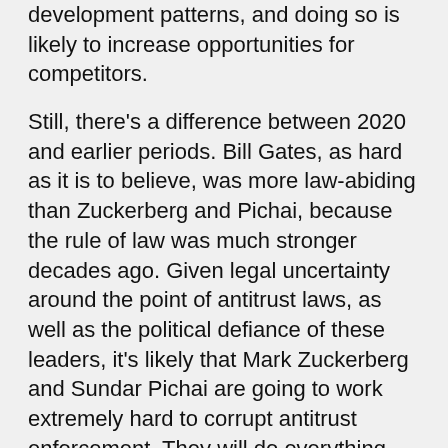development patterns, and doing so is likely to increase opportunities for competitors.
Still, there's a difference between 2020 and earlier periods. Bill Gates, as hard as it is to believe, was more law-abiding than Zuckerberg and Pichai, because the rule of law was much stronger decades ago. Given legal uncertainty around the point of antitrust laws, as well as the political defiance of these leaders, it's likely that Mark Zuckerberg and Sundar Pichai are going to work extremely hard to corrupt antitrust enforcement. They will do everything they can to *not* change their bad behavior, whether that's ensuring products continue to exclude others, continuing a merger spree with more acquisitions (as Facebook just did), or even attempting to use their platforms to manipulate elections (as Uber and Lyft did with Prop 22 in